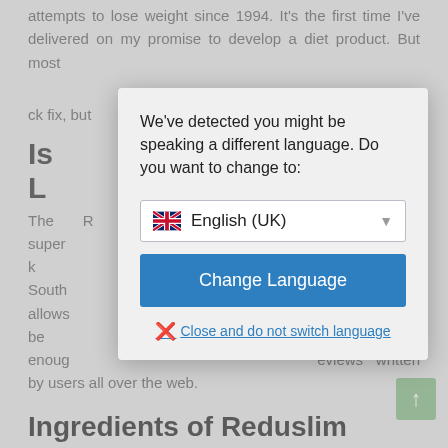attempts to lose weight since 1994. It's the first time I've delivered on my promise to develop a diet product. But most ck fix, but science unreas
Is L... ou?
The R... of a super ant is also k n and South e that allows ct has not be re are enoug eviews written by users all over the web.
[Figure (screenshot): Modal dialog overlay asking user if they want to change language. Contains a dropdown showing 'English (UK)' with UK flag, a 'Change Language' blue button, and a 'Close and do not switch language' link.]
Ingredients of Reduslim
The first four ingredients of Reduslim are carbohydrates, fat